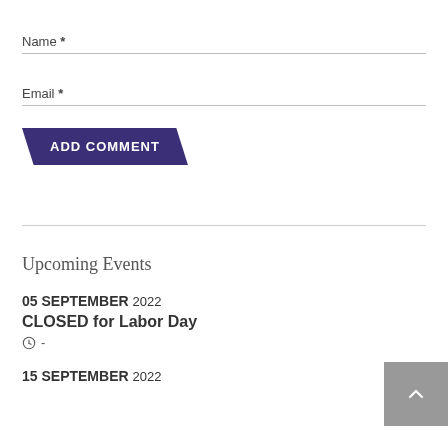Name *
Email *
ADD COMMENT
Upcoming Events
05 SEPTEMBER 2022
CLOSED for Labor Day
⊙ -
15 SEPTEMBER 2022